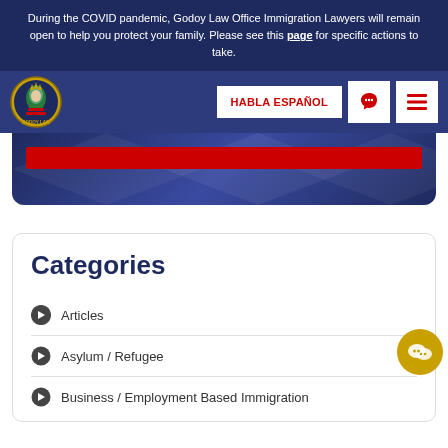During the COVID pandemic, Godoy Law Office Immigration Lawyers will remain open to help you protect your family. Please see this page for specific actions to take.
[Figure (screenshot): Navigation bar with Godoy Law Office logo (Statue of Liberty emblem), HABLA ESPAÑOL button, phone icon button, and hamburger menu button on dark navy background]
[Figure (illustration): Dark navy/blue hero section with a red horizontal bar, geometric diamond pattern in background]
Categories
Articles
Asylum / Refugee
Business / Employment Based Immigration